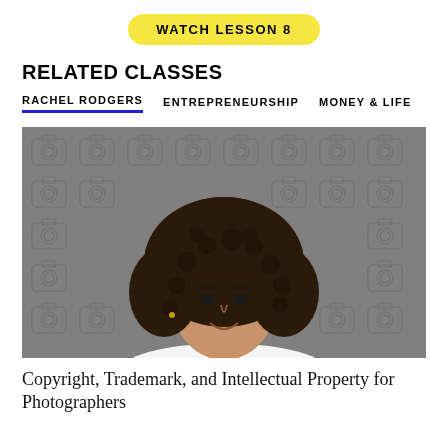WATCH LESSON 8
RELATED CLASSES
RACHEL RODGERS   ENTREPRENEURSHIP   MONEY & LIFE
[Figure (photo): Professional headshot of a woman with curly hair wearing a white top, against a gray background with camera icon pattern]
Copyright, Trademark, and Intellectual Property for Photographers